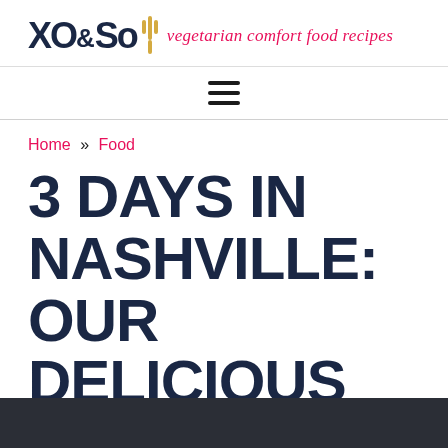XO&So | vegetarian comfort food recipes
[Figure (other): Hamburger navigation menu icon (three horizontal lines)]
Home » Food
3 DAYS IN NASHVILLE: OUR DELICIOUS ITINERARY